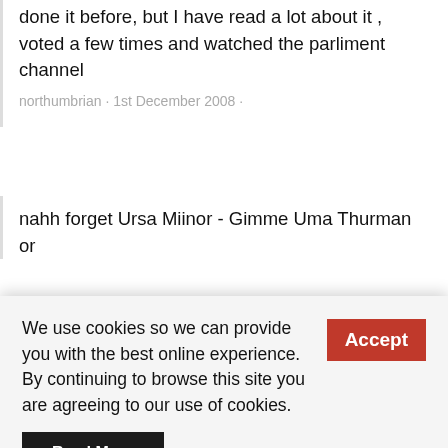done it before, but I have read a lot about it , voted a few times and watched the parliment channel
northumbrian · 1st December 2008 ·
nahh forget Ursa Miinor - Gimme Uma Thurman or
We use cookies so we can provide you with the best online experience. By continuing to browse this site you are agreeing to our use of cookies.
Accept
Read More
@non: You seem over-qualmed.
Dan Wilson · 1st December 2008 ·
Get a room, you two ;-)
Sue Bailey · 1st December 2008 ·